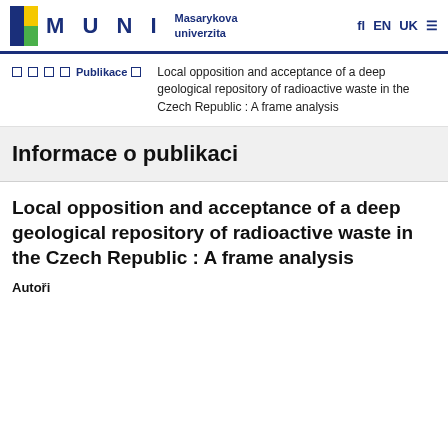MUNI Masarykova univerzita | fl EN UK ≡
❑ ❑ ❑ ❑ Publikace ❑ | Local opposition and acceptance of a deep geological repository of radioactive waste in the Czech Republic : A frame analysis
Informace o publikaci
Local opposition and acceptance of a deep geological repository of radioactive waste in the Czech Republic : A frame analysis
Autoři